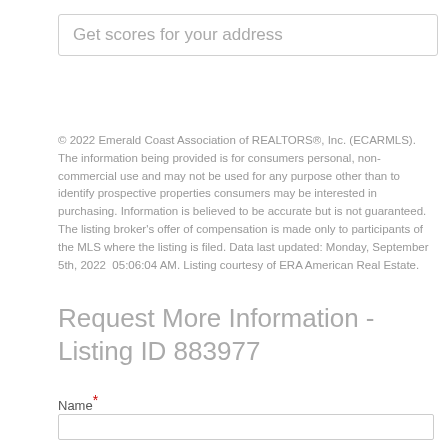Get scores for your address
© 2022 Emerald Coast Association of REALTORS®, Inc. (ECARMLS). The information being provided is for consumers personal, non-commercial use and may not be used for any purpose other than to identify prospective properties consumers may be interested in purchasing. Information is believed to be accurate but is not guaranteed. The listing broker's offer of compensation is made only to participants of the MLS where the listing is filed. Data last updated: Monday, September 5th, 2022 05:06:04 AM. Listing courtesy of ERA American Real Estate.
Request More Information - Listing ID 883977
Name*